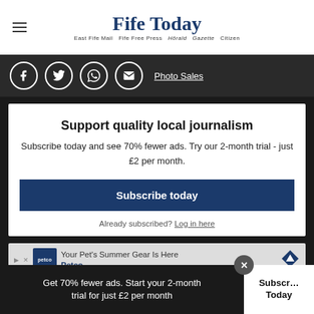Fife Today — East Fife Mail Fife Free Press Hörald Gazette Citizen
[Figure (infographic): Social sharing icons: Facebook, Twitter, WhatsApp, Email circles, plus Photo Sales link]
Support quality local journalism
Subscribe today and see 70% fewer ads. Try our 2-month trial - just £2 per month.
Subscribe today
Already subscribed? Log in here
[Figure (infographic): Petco advertisement: Your Pet's Summer Gear Is Here, Petco logo]
Get 70% fewer ads. Start your 2-month trial for just £2 per month
Subscribe Today